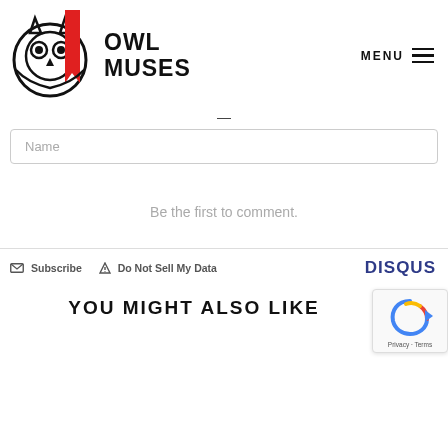[Figure (logo): Owl Muses logo with owl graphic and text OWL MUSES in bold black letters]
MENU ≡
—
Name
Be the first to comment.
☑ Subscribe  ⚠ Do Not Sell My Data    DISQUS
YOU MIGHT ALSO LIKE